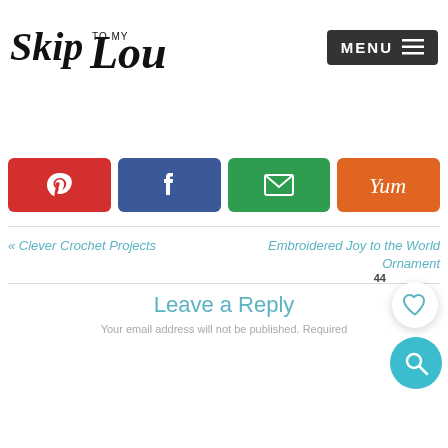[Figure (logo): Skip to my Lou cursive logo]
[Figure (screenshot): MENU button with hamburger icon in dark background]
[Figure (infographic): Social share buttons: Pinterest (red), Facebook (blue), Email (green), Yummly (orange)]
« Clever Crochet Projects
Embroidered Joy to the World Ornament
Leave a Reply
Your email address will not be published. Required